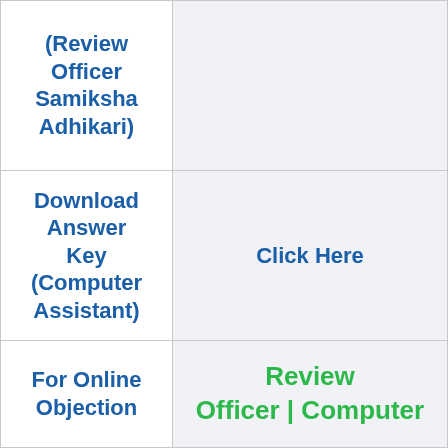| Action | Link |
| --- | --- |
| (Review Officer Samiksha Adhikari) |  |
| Download Answer Key (Computer Assistant) | Click Here |
| For Online Objection | Review Officer | Computer |